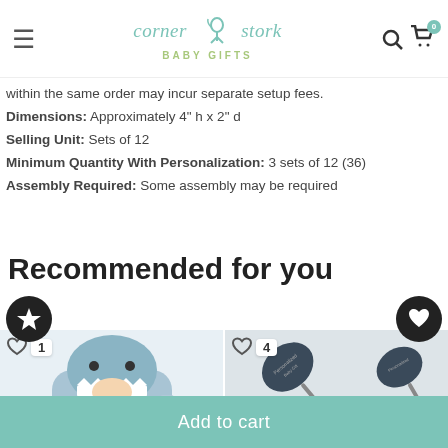Corner Stork Baby Gifts — navigation header with hamburger menu, logo, search and cart icons
within the same order may incur separate setup fees. Dimensions: Approximately 4" h x 2" d Selling Unit: Sets of 12 Minimum Quantity With Personalization: 3 sets of 12 (36) Assembly Required: Some assembly may be required
Recommended for you
[Figure (screenshot): Product recommendation row showing a shark hooded baby towel set (rank 1) and golf club baby spoons (rank 4) with wishlist heart icons and numbered badges]
Add to cart